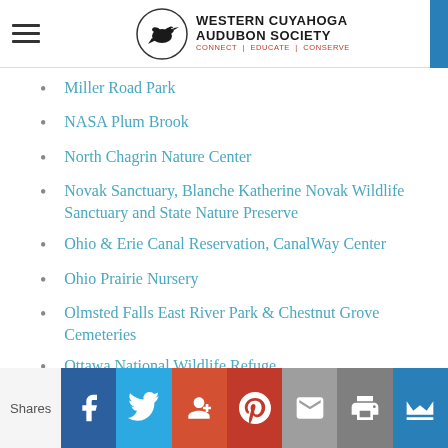Western Cuyahoga Audubon Society — CONNECT | EDUCATE | CONSERVE
Miller Road Park
NASA Plum Brook
North Chagrin Nature Center
Novak Sanctuary, Blanche Katherine Novak Wildlife Sanctuary and State Nature Preserve
Ohio & Erie Canal Reservation, CanalWay Center
Ohio Prairie Nursery
Olmsted Falls East River Park & Chestnut Grove Cemeteries
Ottawa National Wildlife Refuge
Pawpaw Picnic Area
Penitentiary Glen Reservation
Perkins Beach
Shares — Facebook, Twitter, Google+, Pinterest, Email, Print, Crown